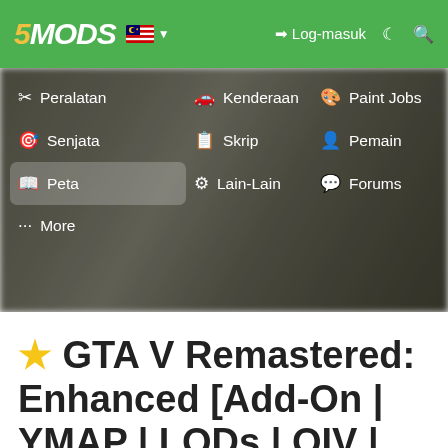5MODS — Log-masuk
Peralatan
Kenderaan
Paint Jobs
Senjata
Skrip
Pemain
Peta
Lain-Lain
Forums
More
⭐ GTA V Remastered: Enhanced [Add-On | YMAP | LODs | OIV | SP | FiveM] 3.3-SP